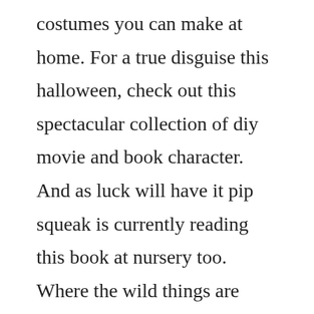costumes you can make at home. For a true disguise this halloween, check out this spectacular collection of diy movie and book character. And as luck will have it pip squeak is currently reading this book at nursery too. Where the wild things are printables honeybear lane. Its a total immersion experience where the rest of your life dissolves in a puddle of todo lists and dentist appointments. Oct 18, 2009 homemade costume 1 week production time.
Costumes usa where the wild things are